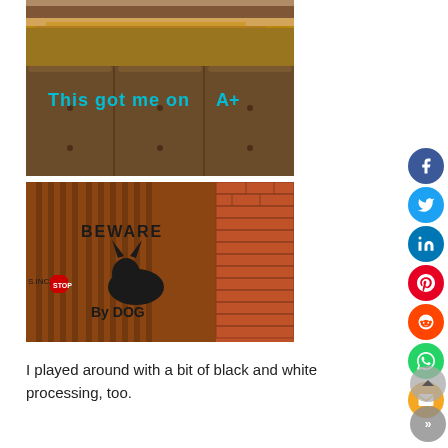[Figure (photo): Top partial photo showing brick wall or roofline]
[Figure (photo): Photo of a wooden fence with blue graffiti text reading 'This got me an A+']
[Figure (photo): Photo of a metal gate on a brown door next to a brick wall, with stencil art showing a dog silhouette and text 'BEWARE... By DOG']
I played around with a bit of black and white processing, too.